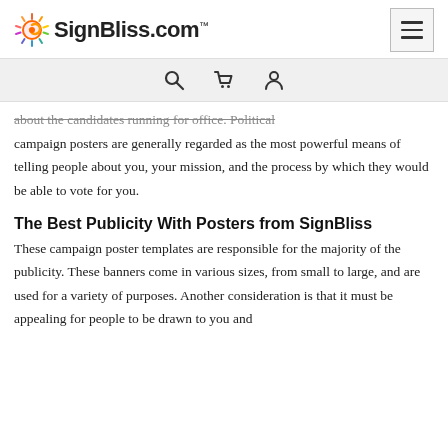SignBliss.com™
about the candidates running for office. Political campaign posters are generally regarded as the most powerful means of telling people about you, your mission, and the process by which they would be able to vote for you.
The Best Publicity With Posters from SignBliss
These campaign poster templates are responsible for the majority of the publicity. These banners come in various sizes, from small to large, and are used for a variety of purposes. Another consideration is that it must be appealing for people to be drawn to you and